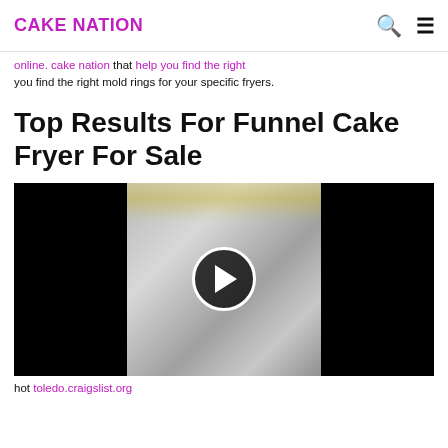CAKE NATION
you find the right mold rings for your specific fryers.
Top Results For Funnel Cake Fryer For Sale
[Figure (photo): Video thumbnail showing stainless steel funnel cake fryer equipment with a play button overlay in the center]
hot toledo.craigslist.org